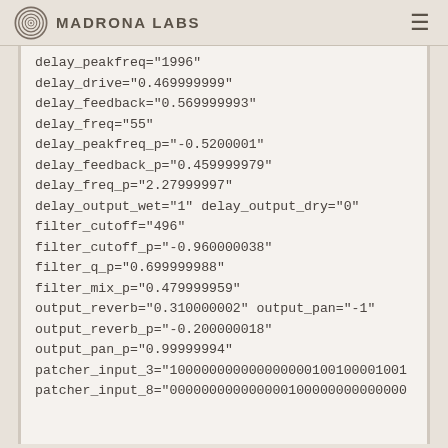Madrona Labs
delay_peakfreq="1996"
delay_drive="0.469999999"
delay_feedback="0.569999993"
delay_freq="55"
delay_peakfreq_p="-0.5200001"
delay_feedback_p="0.459999979"
delay_freq_p="2.27999997"
delay_output_wet="1" delay_output_dry="0"
filter_cutoff="496"
filter_cutoff_p="-0.960000038"
filter_q_p="0.699999988"
filter_mix_p="0.479999959"
output_reverb="0.310000002" output_pan="-1"
output_reverb_p="-0.200000018"
output_pan_p="0.99999994"
patcher_input_3="1000000000000000001001000010011..."
patcher_input_8="0000000000000001000000000000000..."